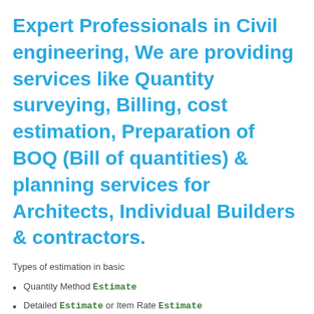Expert Professionals in Civil engineering, We are providing services like Quantity surveying, Billing, cost estimation, Preparation of BOQ (Bill of quantities) & planning services for Architects, Individual Builders & contractors.
Types of estimation in basic
Quantity Method Estimate
Detailed Estimate or Item Rate Estimate
Revised Estimate
Supplementary Estimate
Supplementary and Revised Estimate
Annual Repair or Maintenance Estimate